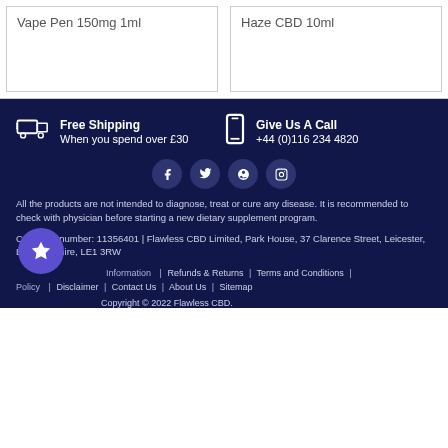Vape Pen 150mg 1ml
Haze CBD 10ml
Free Shipping
When you spend over £30
Give Us A Call
+44 (0)116 234 4820
[Figure (other): Social media icons: Facebook, Twitter, Pinterest, Instagram]
All the products are not intended to diagnose, treat or cure any disease. It is recommended to check with physician before starting a new dietary supplement program.
Company number: 11356401 | Flawless CBD Limited, Park House, 37 Clarence Street, Leicester, Leicestershire, LE1 3RW
Information | Refunds & Returns | Terms and Conditions | Policy | Disclaimer | Contact Us | About Us | Sitemap
Copyright © 2022 Flawless CBD.